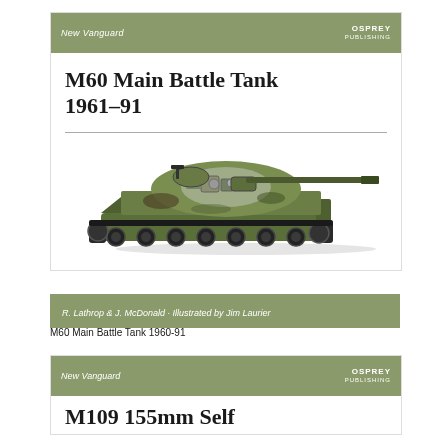New Vanguard
M60 Main Battle Tank 1961–91
[Figure (illustration): Cut-away illustration of an M60 Main Battle Tank showing internal components and camouflage paint scheme, with long gun barrel extending to the right, olive green camouflage, and detailed road wheels and tracks visible.]
R. Lathrop & J. McDonald · Illustrated by Jim Laurier
M60 Main Battle Tank 1960-91
New Vanguard
M109 155mm Self